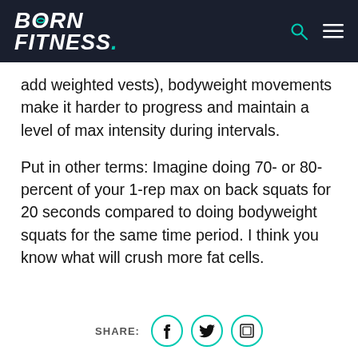BORN FITNESS.
add weighted vests), bodyweight movements make it harder to progress and maintain a level of max intensity during intervals.
Put in other terms: Imagine doing 70- or 80-percent of your 1-rep max on back squats for 20 seconds compared to doing bodyweight squats for the same time period. I think you know what will crush more fat cells.
SHARE: [Facebook] [Twitter] [Link]